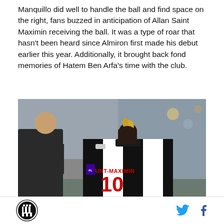Manquillo did well to handle the ball and find space on the right, fans buzzed in anticipation of Allan Saint Maximin receiving the ball. It was a type of roar that hasn't been heard since Almiron first made his debut earlier this year. Additionally, it brought back fond memories of Hatem Ben Arfa's time with the club.
[Figure (photo): Back view of Allan Saint-Maximin wearing Newcastle United black and white striped jersey with number 10 and name SAINT-MAXIMIN, standing on pitch with crowd in background, another player visible to the left]
Newcastle United club logo | Twitter icon | Facebook icon